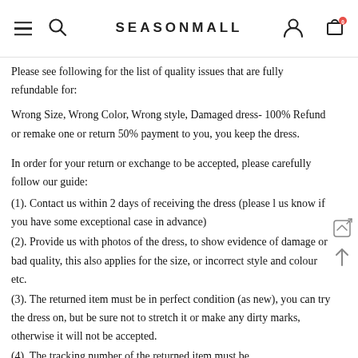SEASONMALL
Please see following for the list of quality issues that are fully refundable for:
Wrong Size, Wrong Color, Wrong style, Damaged dress- 100% Refund or remake one or return 50% payment to you, you keep the dress.
In order for your return or exchange to be accepted, please carefully follow our guide:
(1). Contact us within 2 days of receiving the dress (please l us know if you have some exceptional case in advance)
(2). Provide us with photos of the dress, to show evidence of damage or bad quality, this also applies for the size, or incorrect style and colour etc.
(3). The returned item must be in perfect condition (as new), you can try the dress on, but be sure not to stretch it or make any dirty marks, otherwise it will not be accepted.
(4). The tracking number of the returned item must be